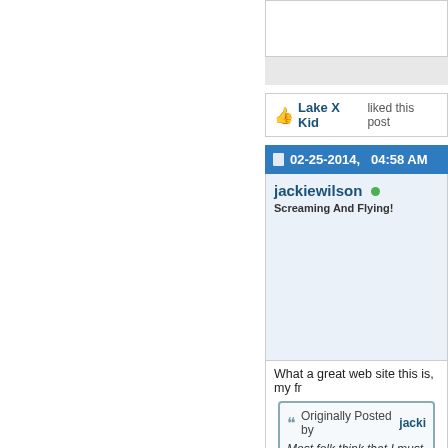Lake X Kid liked this post
02-25-2014, 04:58 AM
jackiewilson
Screaming And Flying!
What a great web site this is, my fr
Originally Posted by jacki
Most folk think that I must s in a workshop, creating obje reason is----I like doing it. Went to Sweden , met this a much alimony he has to pro looked at all his creations a The year was 2011, just ca pick it up , turn it over and s bend it , mount it, polish it,